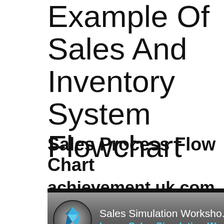Example Of Sales And Inventory System Flowchart
Sales Process Flow Chart
achievement.uk.com
[Figure (screenshot): Video thumbnail showing a sales simulation workshop with a logo icon and text 'Sales Simulation Worksho...' and 'hours Sales Simulation Workshop' in blue text on a dark grey background.]